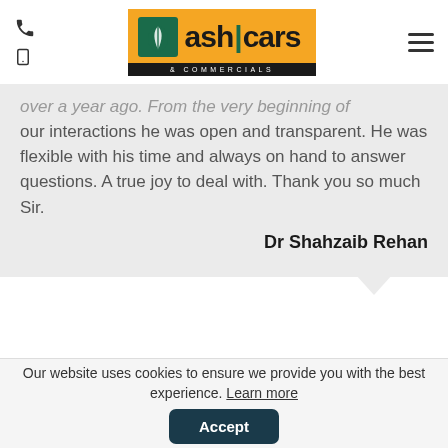Ash Cars & Commercials — header with logo and navigation icons
over a year ago. From the very beginning of our interactions he was open and transparent. He was flexible with his time and always on hand to answer questions. A true joy to deal with. Thank you so much Sir.
Dr Shahzaib Rehan
[Figure (other): Five gold stars rating with AutoTrader logo]
Best purchasing of a car experience ever!
Ash is the most honourable respectful person
Our website uses cookies to ensure we provide you with the best experience. Learn more
Accept